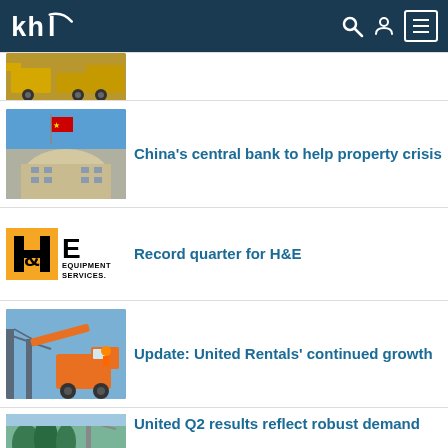KHL – header with logo, search, account and menu icons
[Figure (screenshot): Partial article row: construction machinery / loaders thumbnail (cropped)]
[Figure (photo): China's central bank building with Chinese flag]
China's central bank to help property crisis
[Figure (logo): H&E Equipment Services logo]
Record quarter for H&E
[Figure (photo): Orange boom lift / aerial work platform on job site]
Update: United Rentals' continued growth
[Figure (photo): Crane or lifting equipment on job site (partially cropped)]
United Q2 results reflect robust demand